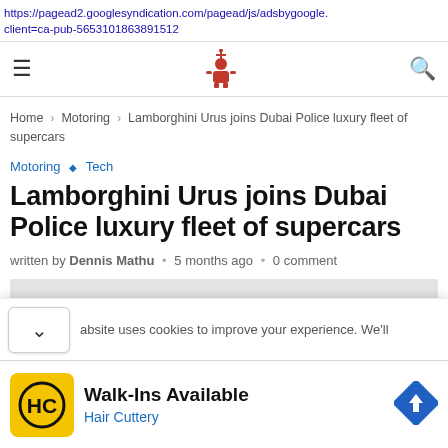https://pagead2.googlesyndication.com/pagead/js/adsbygoogle. client=ca-pub-5653101863891512
[Figure (logo): Website navigation bar with hamburger menu, red person-with-antenna logo, and search icon]
Home > Motoring > Lamborghini Urus joins Dubai Police luxury fleet of supercars
Motoring ◇ Tech
Lamborghini Urus joins Dubai Police luxury fleet of supercars
written by Dennis Mathu • 5 months ago • 0 comment
[Figure (photo): Gray article image placeholder]
absite uses cookies to improve your experience. We'll
Walk-Ins Available
Hair Cuttery